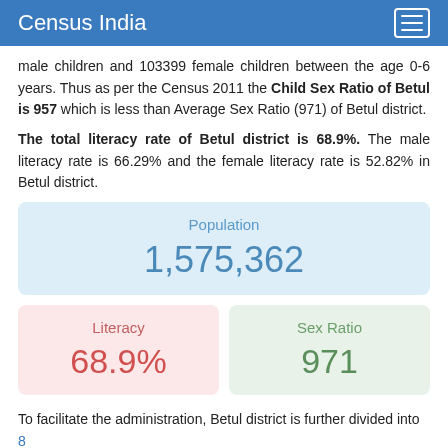Census India
male children and 103399 female children between the age 0-6 years. Thus as per the Census 2011 the Child Sex Ratio of Betul is 957 which is less than Average Sex Ratio (971) of Betul district.
The total literacy rate of Betul district is 68.9%. The male literacy rate is 66.29% and the female literacy rate is 52.82% in Betul district.
[Figure (infographic): Population stat card showing 1,575,362]
[Figure (infographic): Two stat cards: Literacy 68.9% and Sex Ratio 971]
To facilitate the administration, Betul district is further divided into 8